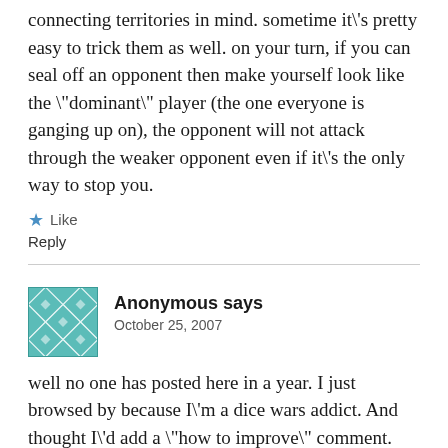connecting territories in mind. sometime it\'s pretty easy to trick them as well. on your turn, if you can seal off an opponent then make yourself look like the \"dominant\" player (the one everyone is ganging up on), the opponent will not attack through the weaker opponent even if it\'s the only way to stop you.
★ Like
Reply
Anonymous says
October 25, 2007
well no one has posted here in a year. I just browsed by because I\'m a dice wars addict. And thought I\'d add a \"how to improve\" comment. Just one thing:when you conquer all the territories, zoom out so that your set of territories is just a patch in a larger game. No end. Perfect for elitists.